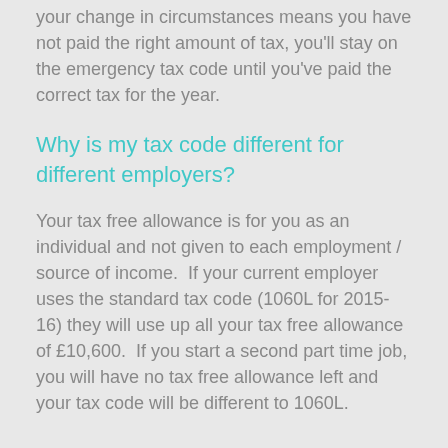your change in circumstances means you have not paid the right amount of tax, you'll stay on the emergency tax code until you've paid the correct tax for the year.
Why is my tax code different for different employers?
Your tax free allowance is for you as an individual and not given to each employment / source of income.  If your current employer uses the standard tax code (1060L for 2015-16) they will use up all your tax free allowance of £10,600.  If you start a second part time job, you will have no tax free allowance left and your tax code will be different to 1060L.